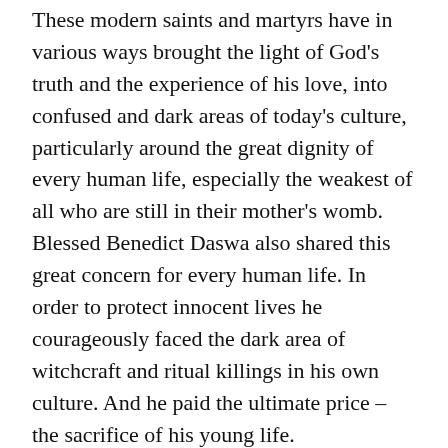These modern saints and martyrs have in various ways brought the light of God's truth and the experience of his love, into confused and dark areas of today's culture, particularly around the great dignity of every human life, especially the weakest of all who are still in their mother's womb. Blessed Benedict Daswa also shared this great concern for every human life. In order to protect innocent lives he courageously faced the dark area of witchcraft and ritual killings in his own culture. And he paid the ultimate price – the sacrifice of his young life.
These modern saints have also witnessed to the great importance of the traditional family as the basic building block of society and of the